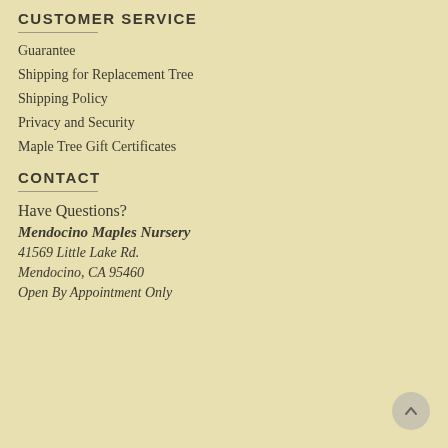CUSTOMER SERVICE
Guarantee
Shipping for Replacement Tree
Shipping Policy
Privacy and Security
Maple Tree Gift Certificates
CONTACT
Have Questions?
Mendocino Maples Nursery
41569 Little Lake Rd.
Mendocino, CA 95460
Open By Appointment Only